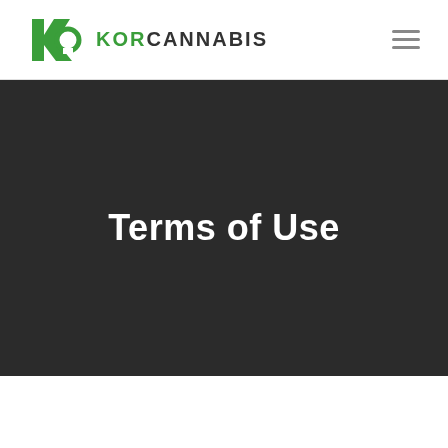[Figure (logo): KOR Cannabis logo with green K and O ring icon and green KOR text followed by dark CANNABIS text]
Terms of Use